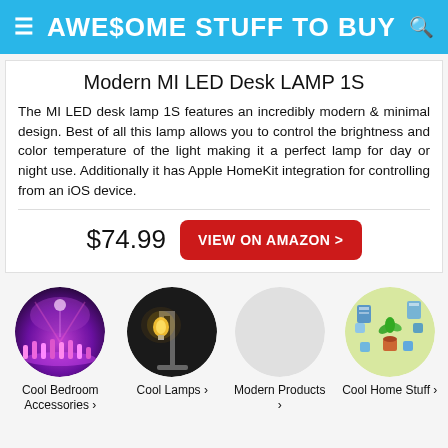AWE$OME STUFF TO BUY
Modern MI LED Desk LAMP 1S
The MI LED desk lamp 1S features an incredibly modern & minimal design. Best of all this lamp allows you to control the brightness and color temperature of the light making it a perfect lamp for day or night use. Additionally it has Apple HomeKit integration for controlling from an iOS device.
$74.99  VIEW ON AMAZON >
[Figure (photo): Circular thumbnail: Cool Bedroom Accessories - purple lit bedroom with pink lighting]
Cool Bedroom Accessories ›
[Figure (photo): Circular thumbnail: Cool Lamps - industrial Edison bulb lamp on dark background]
Cool Lamps ›
[Figure (photo): Circular thumbnail: Modern Products - empty light gray circle]
Modern Products ›
[Figure (photo): Circular thumbnail: Cool Home Stuff - illustrated home items on yellow-green background]
Cool Home Stuff ›